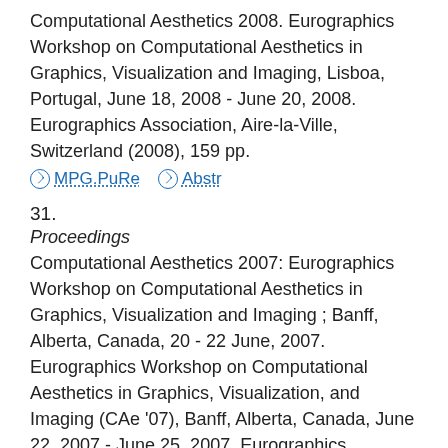Computational Aesthetics 2008. Eurographics Workshop on Computational Aesthetics in Graphics, Visualization and Imaging, Lisboa, Portugal, June 18, 2008 - June 20, 2008. Eurographics Association, Aire-la-Ville, Switzerland (2008), 159 pp.
MPG.PuRe  Abstr
31.
Proceedings
Computational Aesthetics 2007: Eurographics Workshop on Computational Aesthetics in Graphics, Visualization and Imaging ; Banff, Alberta, Canada, 20 - 22 June, 2007. Eurographics Workshop on Computational Aesthetics in Graphics, Visualization, and Imaging (CAe '07), Banff, Alberta, Canada, June 22, 2007 - June 25, 2007. Eurographics Association, Aire-la-Ville, Switzerland (2007), 177 pp.